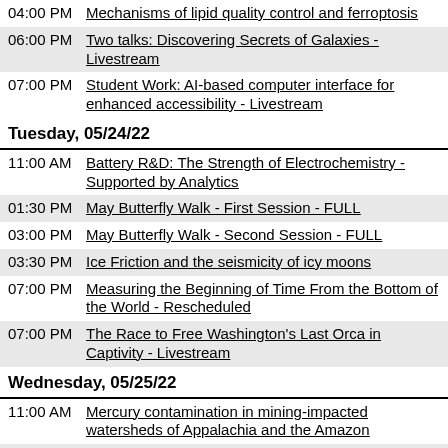04:00 PM Mechanisms of lipid quality control and ferroptosis
06:00 PM Two talks: Discovering Secrets of Galaxies - Livestream
07:00 PM Student Work: AI-based computer interface for enhanced accessibility - Livestream
Tuesday, 05/24/22
11:00 AM Battery R&D: The Strength of Electrochemistry - Supported by Analytics
01:30 PM May Butterfly Walk - First Session - FULL
03:00 PM May Butterfly Walk - Second Session - FULL
03:30 PM Ice Friction and the seismicity of icy moons
07:00 PM Measuring the Beginning of Time From the Bottom of the World - Rescheduled
07:00 PM The Race to Free Washington's Last Orca in Captivity - Livestream
Wednesday, 05/25/22
11:00 AM Mercury contamination in mining-impacted watersheds of Appalachia and the Amazon
06:30 PM Kelp! opening reception
07:00 PM Do Humans Have What it Takes to Thrive in this Universe? - Livestream
08:00 PM Deep Sea Mining, Coming Soon to an Ocean Near You? - RESCHEDULED